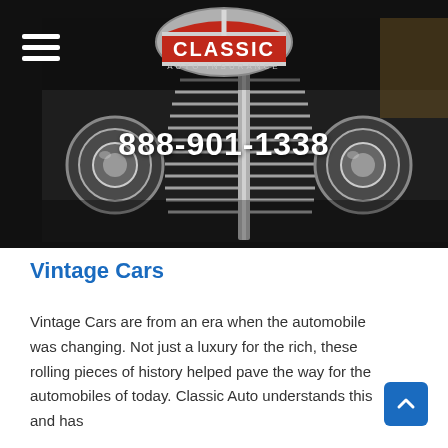[Figure (photo): Close-up photo of a vintage/classic car chrome grille and headlights, black and dark tones, with Classic Auto Insurance logo overlaid at top center and phone number 888-901-1338 overlaid in white text in the center]
Vintage Cars
Vintage Cars are from an era when the automobile was changing. Not just a luxury for the rich, these rolling pieces of history helped pave the way for the automobiles of today. Classic Auto understands and has